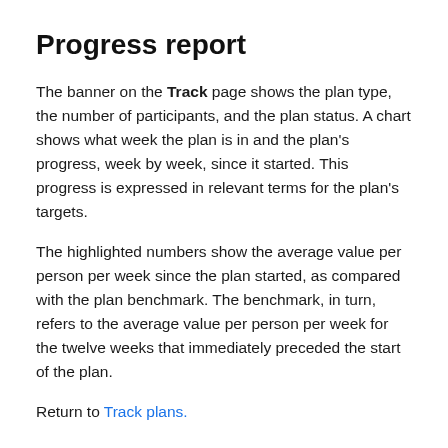Progress report
The banner on the Track page shows the plan type, the number of participants, and the plan status. A chart shows what week the plan is in and the plan's progress, week by week, since it started. This progress is expressed in relevant terms for the plan's targets.
The highlighted numbers show the average value per person per week since the plan started, as compared with the plan benchmark. The benchmark, in turn, refers to the average value per person per week for the twelve weeks that immediately preceded the start of the plan.
Return to Track plans.
Manually upload a .csv file